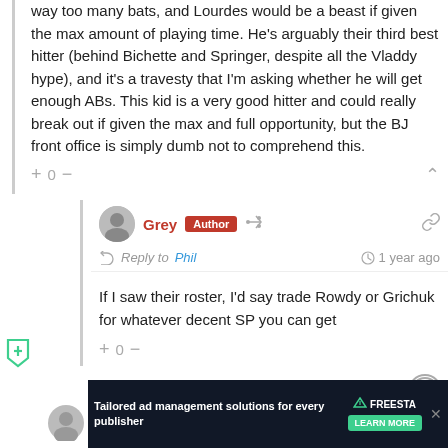I 100% agree with you. They have very little pitching, and way too many bats, and Lourdes would be a beast if given the max amount of playing time. He's arguably their third best hitter (behind Bichette and Springer, despite all the Vladdy hype), and it's a travesty that I'm asking whether he will get enough ABs. This kid is a very good hitter and could really break out if given the max and full opportunity, but the BJ front office is simply dumb not to comprehend this.
Grey Author — Reply to Phil — 1 year ago
If I saw their roster, I'd say trade Rowdy or Grichuk for whatever decent SP you can get
[Figure (infographic): Advertisement banner: Tailored ad management solutions for every publisher — FREESTA — LEARN MORE]